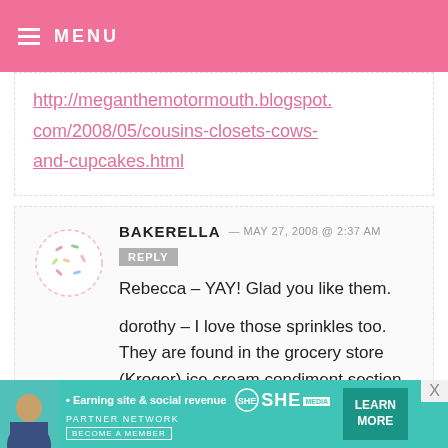≡ MENU
http://meganthemotormouth.blogspot.com/2008/05/cousins-closets-cows-and-cupcakes.html
BAKERELLA — MAY 27, 2008 @ 2:37 AM  REPLY
Rebecca – YAY! Glad you like them.
dorothy – I love those sprinkles too. They are found in the grocery store (Kroger) ice cream condiment section. The brand is Mr. Sprinkles but you
[Figure (illustration): Circular avatar placeholder with dashed border and small colorful sprinkle marks inside, pink-tinted]
• Earning site & social revenue  SHE PARTNER NETWORK BECOME A MEMBER  LEARN MORE